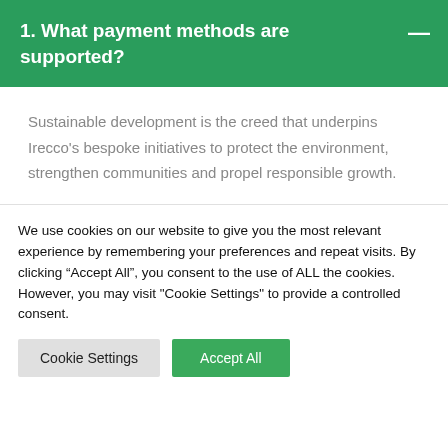1. What payment methods are supported?
Sustainable development is the creed that underpins Irecco's bespoke initiatives to protect the environment, strengthen communities and propel responsible growth.
We use cookies on our website to give you the most relevant experience by remembering your preferences and repeat visits. By clicking “Accept All”, you consent to the use of ALL the cookies. However, you may visit "Cookie Settings" to provide a controlled consent.
Cookie Settings
Accept All